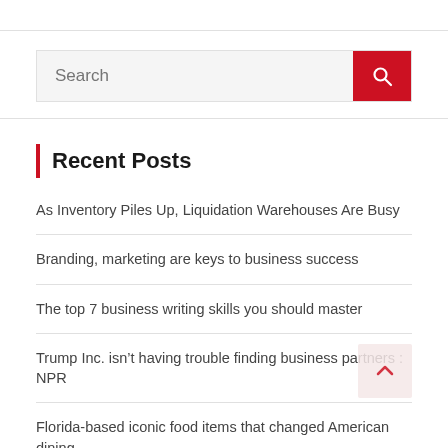[Figure (other): Search bar with red search button containing a magnifying glass icon]
Recent Posts
As Inventory Piles Up, Liquidation Warehouses Are Busy
Branding, marketing are keys to business success
The top 7 business writing skills you should master
Trump Inc. isn't having trouble finding business partners : NPR
Florida-based iconic food items that changed American dining